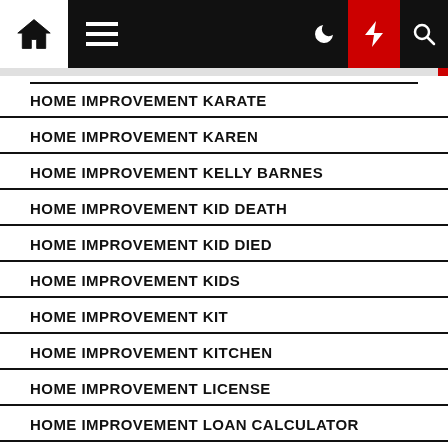Navigation bar with home, menu, moon, bolt, search icons
HOME IMPROVEMENT KARATE
HOME IMPROVEMENT KAREN
HOME IMPROVEMENT KELLY BARNES
HOME IMPROVEMENT KID DEATH
HOME IMPROVEMENT KID DIED
HOME IMPROVEMENT KIDS
HOME IMPROVEMENT KIT
HOME IMPROVEMENT KITCHEN
HOME IMPROVEMENT LICENSE
HOME IMPROVEMENT LOAN CALCULATOR
HOME IMPROVEMENT LOAN RATES